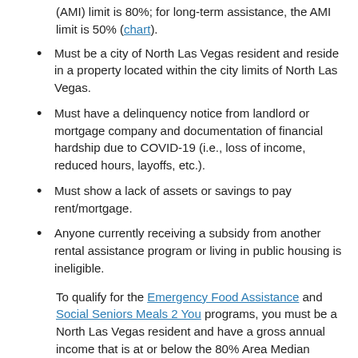(AMI) limit is 80%; for long-term assistance, the AMI limit is 50% (chart).
Must be a city of North Las Vegas resident and reside in a property located within the city limits of North Las Vegas.
Must have a delinquency notice from landlord or mortgage company and documentation of financial hardship due to COVID-19 (i.e., loss of income, reduced hours, layoffs, etc.).
Must show a lack of assets or savings to pay rent/mortgage.
Anyone currently receiving a subsidy from another rental assistance program or living in public housing is ineligible.
To qualify for the Emergency Food Assistance and Social Seniors Meals 2 You programs, you must be a North Las Vegas resident and have a gross annual income that is at or below the 80% Area Median Income for your household size.